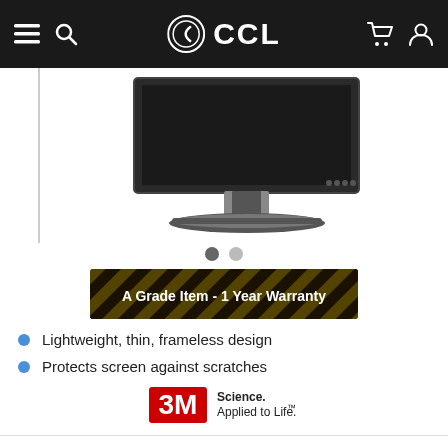CCL
[Figure (photo): Computer monitor on a stand, showing the front bezel and base, on a white background with a vertical left border line.]
[Figure (infographic): A Grade Item - 1 Year Warranty banner with yellow and black diagonal stripe texture background.]
Lightweight, thin, frameless design
Protects screen against scratches
[Figure (logo): 3M Science. Applied to Life. logo]
Was £85.98
Now only